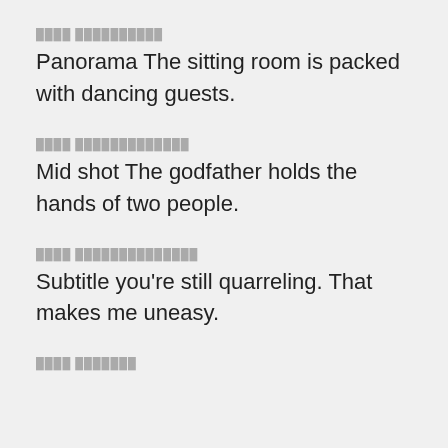░░░░ ░░░░░░░░░░
Panorama The sitting room is packed with dancing guests.
░░░░ ░░░░░░░░░░░░░
Mid shot The godfather holds the hands of two people.
░░░░ ░░░░░░░░░░░░░░
Subtitle you're still quarreling. That makes me uneasy.
░░░░ ░░░░░░░